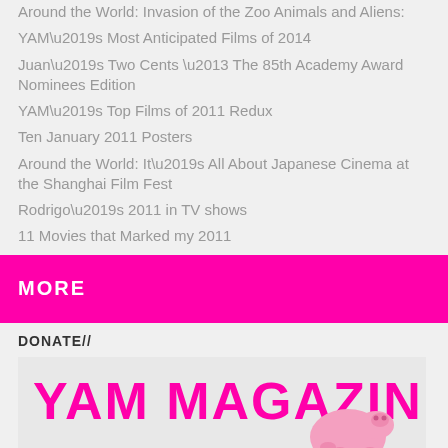Around the World: Invasion of the Zoo Animals and Aliens:
YAM’s Most Anticipated Films of 2014
Juan’s Two Cents – The 85th Academy Award Nominees Edition
YAM’s Top Films of 2011 Redux
Ten January 2011 Posters
Around the World: It’s All About Japanese Cinema at the Shanghai Film Fest
Rodrigo’s 2011 in TV shows
11 Movies that Marked my 2011
MORE
DONATE//
[Figure (logo): YAM Magazine logo in magenta text with pink piggy bank graphic on light grey background]